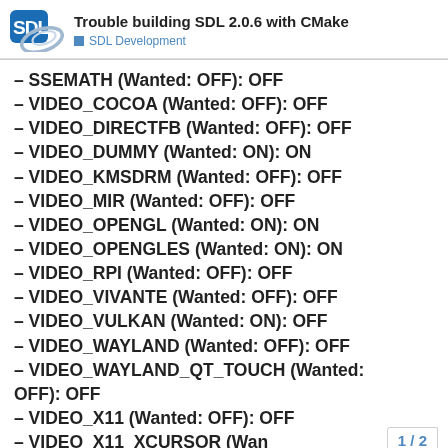Trouble building SDL 2.0.6 with CMake — SDL Development
– SSEMATH (Wanted: OFF): OFF
– VIDEO_COCOA (Wanted: OFF): OFF
– VIDEO_DIRECTFB (Wanted: OFF): OFF
– VIDEO_DUMMY (Wanted: ON): ON
– VIDEO_KMSDRM (Wanted: OFF): OFF
– VIDEO_MIR (Wanted: OFF): OFF
– VIDEO_OPENGL (Wanted: ON): ON
– VIDEO_OPENGLES (Wanted: ON): ON
– VIDEO_RPI (Wanted: OFF): OFF
– VIDEO_VIVANTE (Wanted: OFF): OFF
– VIDEO_VULKAN (Wanted: ON): OFF
– VIDEO_WAYLAND (Wanted: OFF): OFF
– VIDEO_WAYLAND_QT_TOUCH (Wanted: OFF): OFF
– VIDEO_X11 (Wanted: OFF): OFF
– VIDEO_X11_XCURSOR (Wanted: OFF)
1 / 2